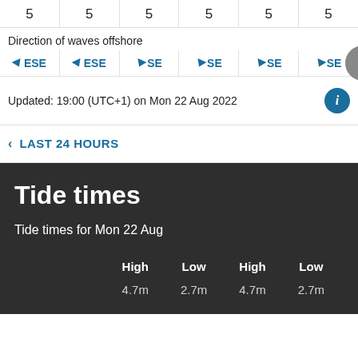|  |  |  |  |  |  |
| --- | --- | --- | --- | --- | --- |
| 5 | 5 | 5 | 5 | 5 | 5 |
Direction of waves offshore
| ESE | ESE | SE | SE | SE | SE |
| --- | --- | --- | --- | --- | --- |
Updated: 19:00 (UTC+1) on Mon 22 Aug 2022
< LAST 24 HOURS
Tide times
Tide times for Mon 22 Aug
| High | Low | High | Low |
| --- | --- | --- | --- |
| 4.7m | 2.7m | 4.7m | 2.7m |